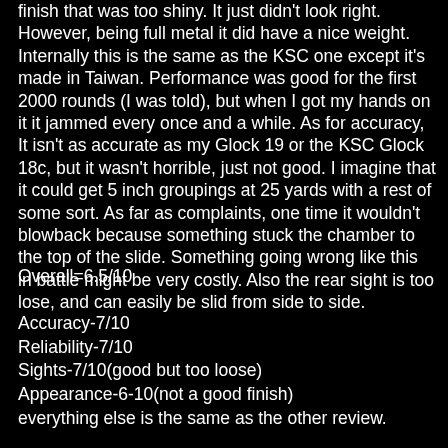finish that was too shiny. It just didn't look right. However, being full metal it did have a nice weight. Internally this is the same as the KSC one except it's made in Taiwan. Performance was good for the first 2000 rounds (I was told), but when I got my hands on it it jammed every once and a while. As for accuracy, It isn't as accurate as my Glock 19 or the KSC Glock 18c, but it wasn't horrible, just not good. I imagine that it could get 5 inch groupings at 25 yards with a rest of some sort. As far as complaints, one time it wouldn't blowback because something stuck the chamber to the top of the slide. Something going wrong like this in battle might be very costly. Also the rear sight is too lose, and can easily be slid from side to side.
Overall=6.5/10
Accuracy-7/10
Reliability-7/10
Sights-7/10(good but too loose)
Appearance-6-10(not a good finish)
everything else is the same as the other review.